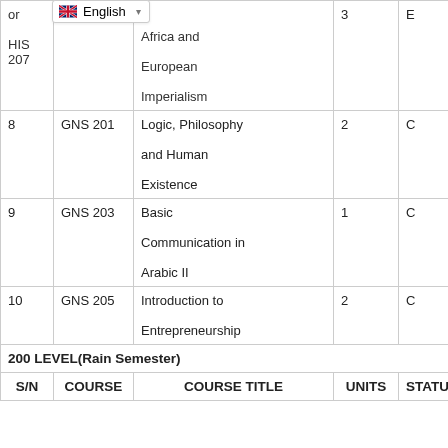| S/N | COURSE | COURSE TITLE | UNITS | STATUS | COURSE |
| --- | --- | --- | --- | --- | --- |
| or
HIS 207 | Africa and European Imperialism | 3 | E | Studies Department |
| 8 | GNS 201 | Logic, Philosophy and Human Existence | 2 | C | GNS Unit |
| 9 | GNS 203 | Basic Communication in Arabic II | 1 | C | GNS Unit |
| 10 | GNS 205 | Introduction to Entrepreneurship | 2 | C | GNS Unit |
| 200 LEVEL(Rain Semester) |  |  |  |  |  |
| S/N | COURSE | COURSE TITLE | UNITS | STATUS | COURSE |